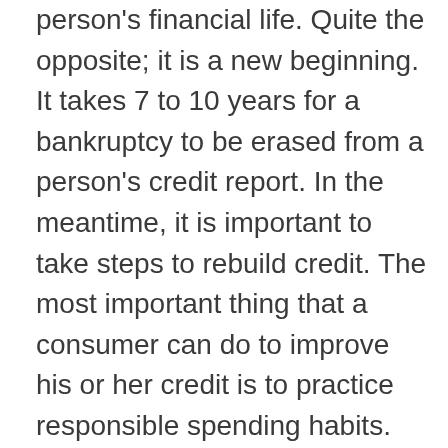person's financial life. Quite the opposite; it is a new beginning. It takes 7 to 10 years for a bankruptcy to be erased from a person's credit report. In the meantime, it is important to take steps to rebuild credit. The most important thing that a consumer can do to improve his or her credit is to practice responsible spending habits. Maintaining a budget and making sure that all monthly payments are made on time is crucial to re-establishing credit worthiness. It takes 7 years for a delinquent payment reported to a credit agency to be removed from a credit report, so it takes consistent payments over that long period of time to clear a credit report of all delinquencies. People should invest in saving after their bankruptcy to avoid falling into dire straits again in the future. It is also important to check your credit report for any problems or mistakes. If a debt